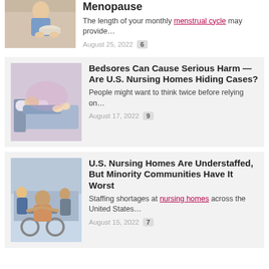[Figure (photo): Person holding a bowl, partial view at top of page]
Menopause
The length of your monthly menstrual cycle may provide…
August 25, 2022  6
[Figure (photo): Person in a hospital bed, caregiver nearby]
Bedsores Can Cause Serious Harm — Are U.S. Nursing Homes Hiding Cases?
People might want to think twice before relying on…
August 17, 2022  9
[Figure (photo): Elderly man in a wheelchair with caregivers around him]
U.S. Nursing Homes Are Understaffed, But Minority Communities Have It Worst
Staffing shortages at nursing homes across the United States…
August 15, 2022  7